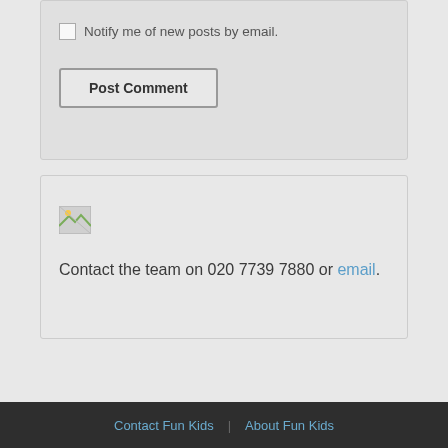Notify me of new posts by email.
Post Comment
[Figure (illustration): Small broken image icon placeholder]
Contact the team on 020 7739 7880 or email.
Contact Fun Kids | About Fun Kids